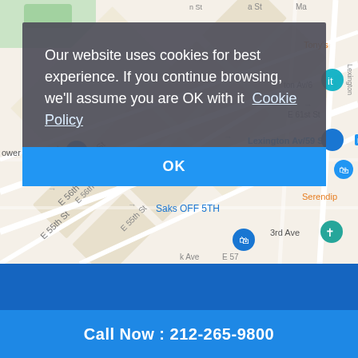[Figure (map): Google Maps screenshot showing midtown Manhattan streets including E 55th St, E 56th St, E 57th St, E 61st St, Lexington Ave/59 St subway station, Bloomingdale's, Saks OFF 5TH, 3rd Ave, and Serendip labels with map pins.]
Our website uses cookies for best experience. If you continue browsing, we'll assume you are OK with it  Cookie Policy
OK
Call Now : 212-265-9800